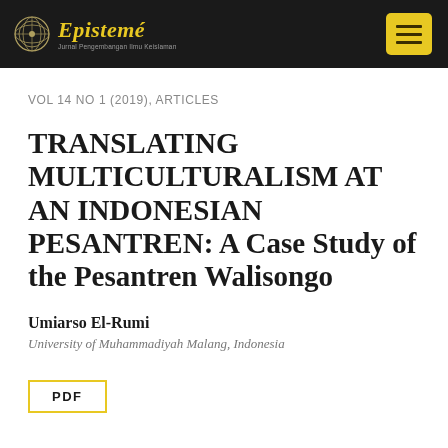Epistemé — Jurnal Pengembangan Ilmu Keislaman
VOL 14 NO 1 (2019), ARTICLES
TRANSLATING MULTICULTURALISM AT AN INDONESIAN PESANTREN: A Case Study of the Pesantren Walisongo
Umiarso El-Rumi
University of Muhammadiyah Malang, Indonesia
PDF